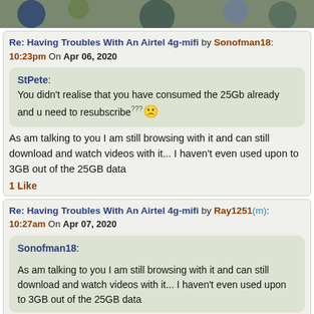[Figure (photo): Partial photo strip at top of page showing blurred colorful image]
Re: Having Troubles With An Airtel 4g-mifi by Sonofman18: 10:23pm On Apr 06, 2020
StPete:
You didn't realise that you have consumed the 25Gb already and u need to resubscribe
As am talking to you I am still browsing with it and can still download and watch videos with it... I haven't even used upon to 3GB out of the 25GB data
1 Like
Re: Having Troubles With An Airtel 4g-mifi by Ray1251(m): 10:27am On Apr 07, 2020
Sonofman18:
As am talking to you I am still browsing with it and can still download and watch videos with it... I haven't even used upon to 3GB out of the 25GB data